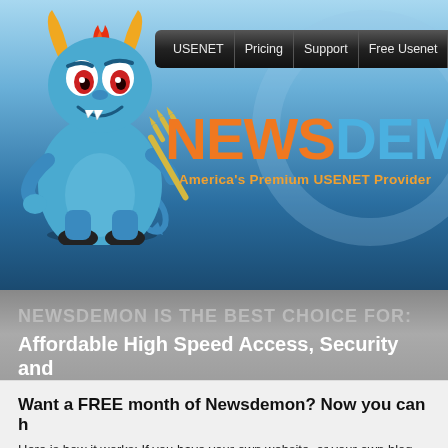[Figure (screenshot): NewsDemon website header screenshot showing navigation bar with USENET, Pricing, Support, Free Usenet, Earn Cash links, a blue devil mascot cartoon holding a trident, and the NewsDemon logo with flame graphic and tagline 'America's Premium USENET Provider']
NEWSDEMON IS THE BEST CHOICE FOR:
Affordable High Speed Access, Security and
Want a FREE month of Newsdemon? Now you can h
Here is how it works: If you have your own website, or your own blog, we i